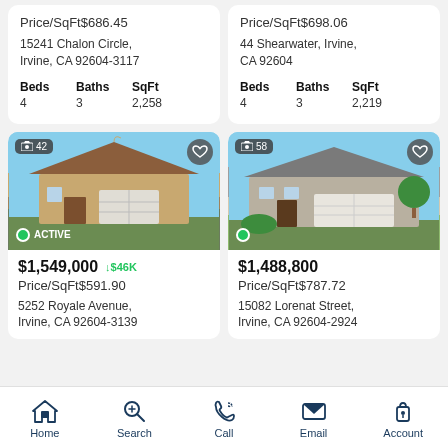Price/SqFt$686.45
15241 Chalon Circle, Irvine, CA 92604-3117
| Beds | Baths | SqFt |
| --- | --- | --- |
| 4 | 3 | 2,258 |
Price/SqFt$698.06
44 Shearwater, Irvine, CA 92604
| Beds | Baths | SqFt |
| --- | --- | --- |
| 4 | 3 | 2,219 |
[Figure (photo): House photo left - ACTIVE listing, 42 photos]
[Figure (photo): House photo right - listing, 58 photos]
$1,549,000 ↓$46K
Price/SqFt$591.90
5252 Royale Avenue, Irvine, CA 92604-3139
$1,488,800
Price/SqFt$787.72
15082 Lorenat Street, Irvine, CA 92604-2924
Home  Search  Call  Email  Account